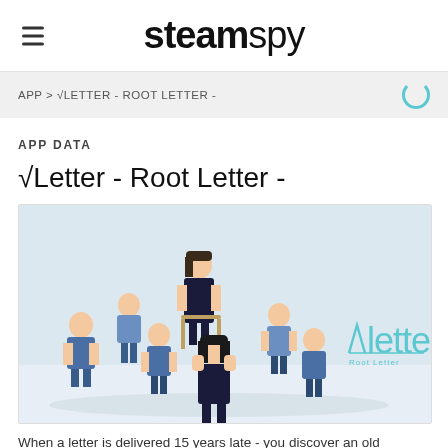steamspy
APP > √LETTER - ROOT LETTER -
APP DATA
√Letter - Root Letter -
[Figure (illustration): Anime-style illustration of several school students sitting in chairs arranged in a circle, with the √letter Root Letter game logo on the right side]
When a letter is delivered 15 years late - you discover an old pen friend was involved in a murder, before she disappeared